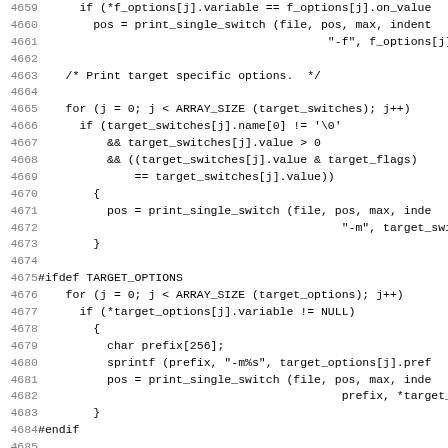Source code listing, lines 4659-4690, C programming language code showing conditional compilation, loop constructs, and function calls for print_single_switch and fprintf.